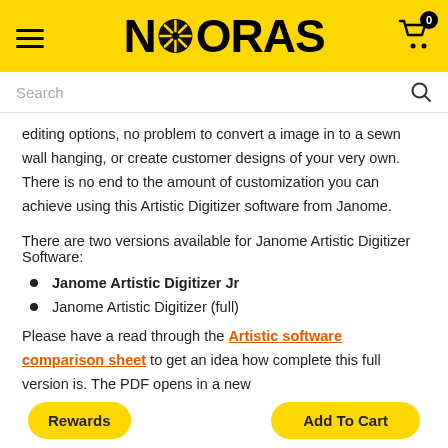NOORAS
Search
editing options, no problem to convert a image in to a sewn wall hanging, or create customer designs of your very own. There is no end to the amount of customization you can achieve using this Artistic Digitizer software from Janome.
There are two versions available for Janome Artistic Digitizer Software:
Janome Artistic Digitizer Jr
Janome Artistic Digitizer (full)
Please have a read through the Artistic software comparison sheet to get an idea how complete this full version is. The PDF opens in a new